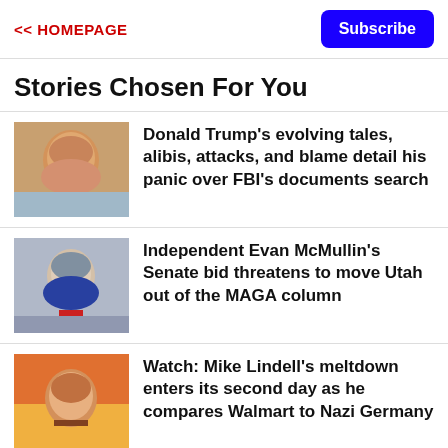<< HOMEPAGE | Subscribe
Stories Chosen For You
Donald Trump's evolving tales, alibis, attacks, and blame detail his panic over FBI's documents search
Independent Evan McMullin's Senate bid threatens to move Utah out of the MAGA column
Watch: Mike Lindell's meltdown enters its second day as he compares Walmart to Nazi Germany